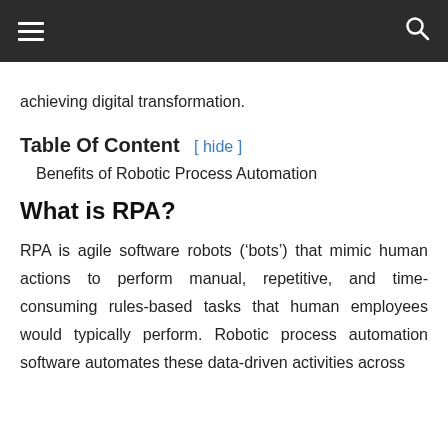Navigation bar with hamburger menu and search icon
achieving digital transformation.
Table Of Content [ hide ]
Benefits of Robotic Process Automation
What is RPA?
RPA is agile software robots (‘bots’) that mimic human actions to perform manual, repetitive, and time-consuming rules-based tasks that human employees would typically perform. Robotic process automation software automates these data-driven activities across